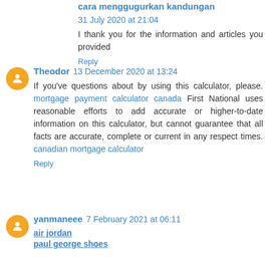cara menggugurkan kandungan  31 July 2020 at 21:04
I thank you for the information and articles you provided
Reply
Theodor  13 December 2020 at 13:24
If you've questions about by using this calculator, please. mortgage payment calculator canada First National uses reasonable efforts to add accurate or higher-to-date information on this calculator, but cannot guarantee that all facts are accurate, complete or current in any respect times. canadian mortgage calculator
Reply
yanmaneee  7 February 2021 at 06:11
air jordan
paul george shoes